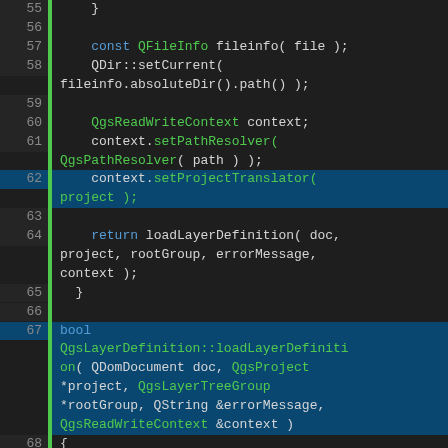[Figure (screenshot): Source code editor screenshot showing C++ code lines 55-75 with syntax highlighting. Line numbers on left gutter, green vertical bars for modified lines, dark background theme. Code includes QFileInfo, QDir, QgsReadWriteContext, QgsPathResolver, loadLayerDefinition, QgsLayerDefinition, errorMessage, QgsLayerTreeGroup, DependencySorter and related C++ function calls.]